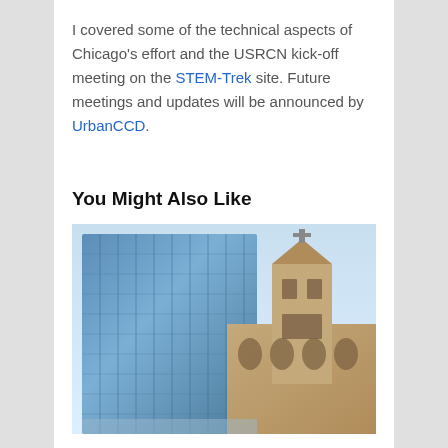I covered some of the technical aspects of Chicago's effort and the USRCN kick-off meeting on the STEM-Trek site. Future meetings and updates will be announced by UrbanCCD.
You Might Also Like
[Figure (photo): Photo of a tall modern glass skyscraper with a blue reflective facade, shot from below at an angle, alongside an older ornate stone church building with a tower and cross on top. Light blue sky in the background.]